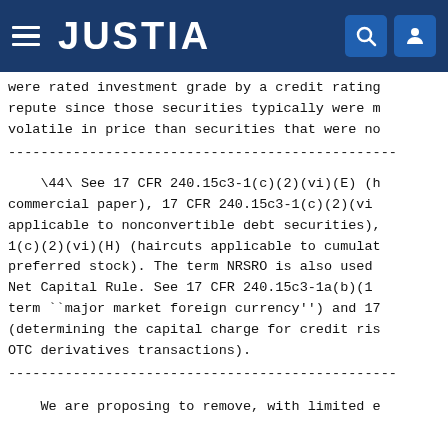JUSTIA
were rated investment grade by a credit rating repute since those securities typically were m volatile in price than securities that were no
--------------------------------------------------------------------------------
\44\ See 17 CFR 240.15c3-1(c)(2)(vi)(E) (h commercial paper), 17 CFR 240.15c3-1(c)(2)(vi applicable to nonconvertible debt securities), 1(c)(2)(vi)(H) (haircuts applicable to cumulat preferred stock). The term NRSRO is also used Net Capital Rule. See 17 CFR 240.15c3-1a(b)(1 term ``major market foreign currency'') and 17 (determining the capital charge for credit ris OTC derivatives transactions).
--------------------------------------------------------------------------------
We are proposing to remove, with limited e